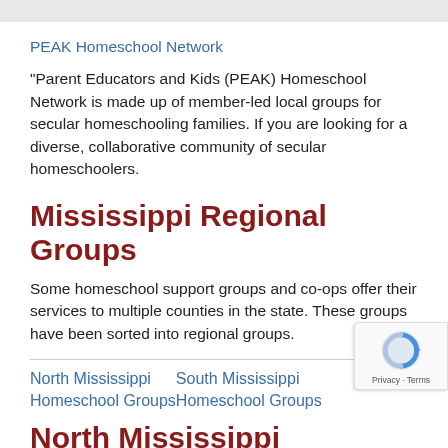PEAK Homeschool Network
“Parent Educators and Kids (PEAK) Homeschool Network is made up of member-led local groups for secular homeschooling families. If you are looking for a diverse, collaborative community of secular homeschoolers.
Mississippi Regional Groups
Some homeschool support groups and co-ops offer their services to multiple counties in the state. These groups have been sorted into regional groups.
North Mississippi Homeschool Groups
South Mississippi Homeschool Groups
North Mississippi Homeschool